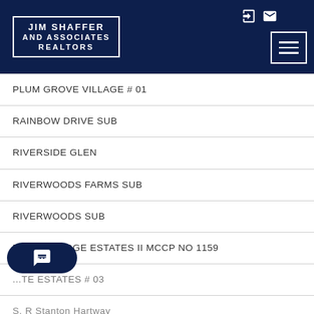[Figure (logo): Jim Shaffer and Associates Realtors logo in white text on dark navy background with white border box]
PLUM GROVE VILLAGE # 01
RAINBOW DRIVE SUB
RIVERSIDE GLEN
RIVERWOODS FARMS SUB
RIVERWOODS SUB
RIVIERA RIDGE ESTATES II MCCP NO 1159
...TE ESTATES # 03
S. R Stanton Hartway